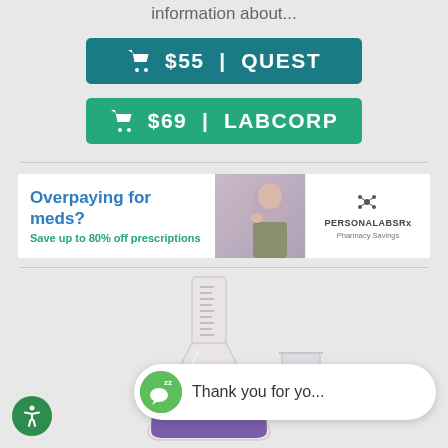information about...
$55 | QUEST
$69 | LABCORP
[Figure (infographic): Advertisement banner: Overpaying for meds? Save up to 80% off prescriptions - PersonalabsRx Pharmacy Savings]
[Figure (illustration): Laboratory flask illustration with purple liquid and smaller beaker]
Thank you for yo...